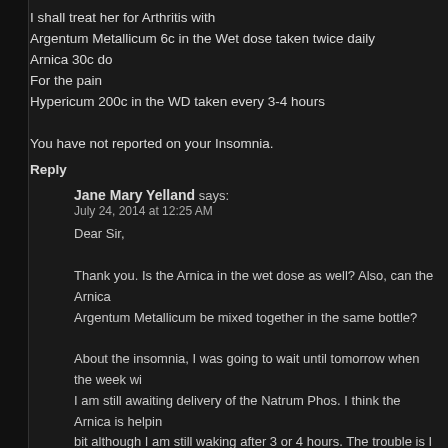I shall treat her for Arthritis with
Argentum Metallicum 6c in the Wet dose taken twice daily
Arnica 30c do
For the pain
Hypericum 200c in the WD taken every 3-4 hours

You have not reported on your Insomnia.
Reply
Jane Mary Yelland says:
July 24, 2014 at 12:25 AM
Dear Sir,

Thank you. Is the Arnica in the wet dose as well? Also, can the Arnica Argentum Metallicum be mixed together in the same bottle?

About the insomnia, I was going to wait until tomorrow when the week wil I am still awaiting delivery of the Natrum Phos. I think the Arnica is helpin bit although I am still waking after 3 or 4 hours. The trouble is I am massive amount of stress at the moment and my mind just races.
Reply
Joe says:
July 24, 2014 at 6:31 AM
All remedies I prescribe except those in the X or Decimal potencies a only taken in the Wet dose.